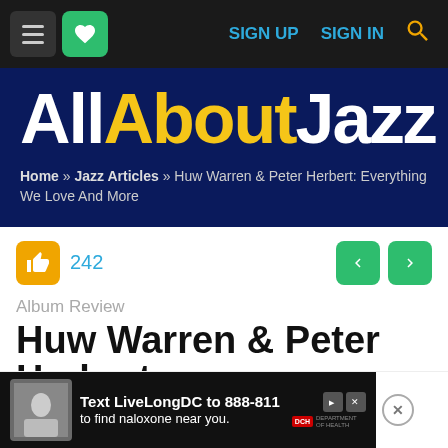SIGN UP  SIGN IN
[Figure (logo): All About Jazz website logo — 'All' in white, 'About' in yellow, 'Jazz' in white, bold large text on dark navy background]
Home » Jazz Articles » Huw Warren & Peter Herbert: Everything We Love And More
242
Album Review
Huw Warren & Peter Herbert: Everything We Love And More
[Figure (screenshot): Advertisement banner: 'Text LiveLongDC to 888-811 to find naloxone near you.' with photo of people and DCH logo]